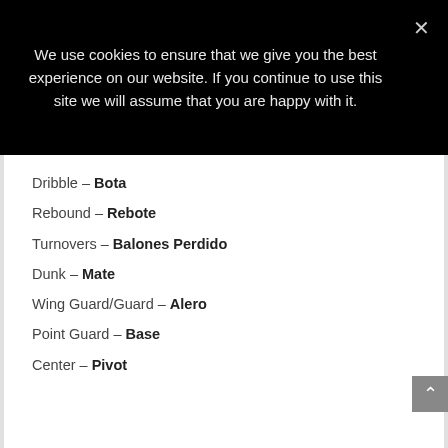We use cookies to ensure that we give you the best experience on our website. If you continue to use this site we will assume that you are happy with it.
Dribble – Bota
Rebound – Rebote
Turnovers – Balones Perdido
Dunk – Mate
Wing Guard/Guard – Alero
Point Guard – Base
Center – Pivot